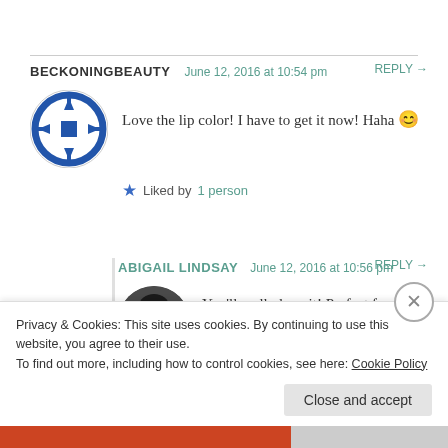BECKONINGBEAUTY   June 12, 2016 at 10:54 pm   REPLY →
Love the lip color! I have to get it now! Haha 😊
★ Liked by 1 person
ABIGAIL LINDSAY   June 12, 2016 at 10:56 pm   REPLY →
You'll really love it! Perfect for summer makeup looks ☀️ 💄
Privacy & Cookies: This site uses cookies. By continuing to use this website, you agree to their use.
To find out more, including how to control cookies, see here: Cookie Policy
Close and accept